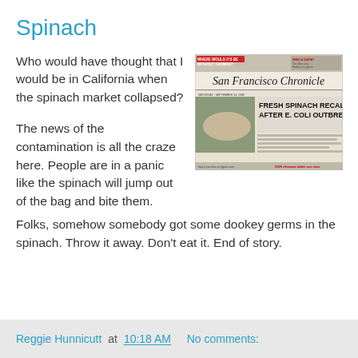Spinach
Who would have thought that I would be in California when the spinach market collapsed?
[Figure (photo): Photo of San Francisco Chronicle newspaper front page showing headline 'FRESH SPINACH RECALL AFTER E. COLI OUTBREAK' and 'WHERE WOULD A'S BE WITHOUT THOMAS?']
The news of the contamination is all the craze here. People are in a panic like the spinach will jump out of the bag and bite them.
Folks, somehow somebody got some dookey germs in the spinach. Throw it away. Don't eat it. End of story.
Reggie Hunnicutt at 10:18 AM   No comments: